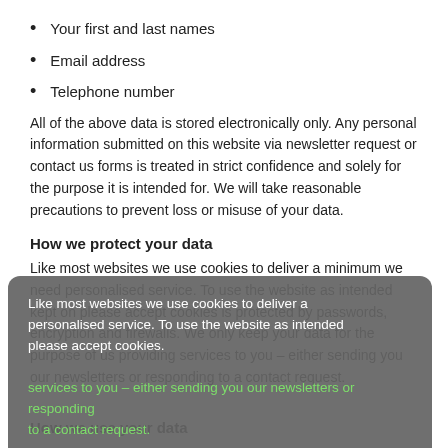Your first and last names
Email address
Telephone number
All of the above data is stored electronically only. Any personal information submitted on this website via newsletter request or contact us forms is treated in strict confidence and solely for the purpose it is intended for. We will take reasonable precautions to prevent loss or misuse of your data.
How we protect your data
Like most websites we use cookies to deliver a minimum we need personalised service. To use the website as intended kept on please accept cookies is protected by passwords, encryption and firewalls. We only keep your data for the purpose of us providing services to you – either sending you our newsletters or responding to a contact request.
Accept Cookies
How we use your data